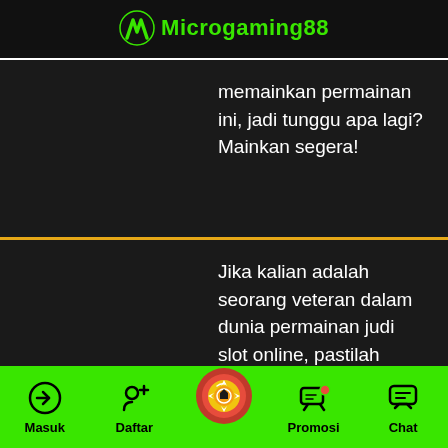Microgaming88
memainkan permainan ini, jadi tunggu apa lagi? Mainkan segera!
Jika kalian adalah seorang veteran dalam dunia permainan judi slot online, pastilah sudah familiar dengan nama Zeus, atau sering juga
Masuk  Daftar  Promosi  Chat